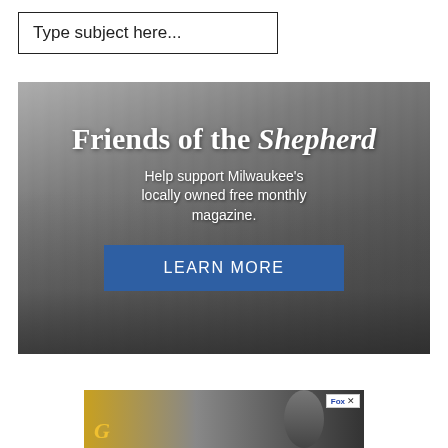Type subject here...
[Figure (photo): Banner advertisement for Friends of the Shepherd magazine showing a black and white aerial view of Milwaukee cityscape with text overlay]
[Figure (advertisement): Bottom advertisement banner with partial image showing a person and Fox network branding with an X close button]